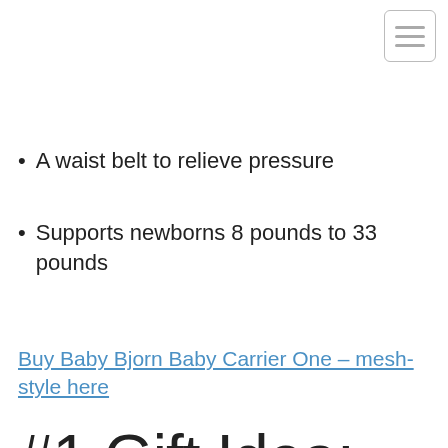A waist belt to relieve pressure
Supports newborns 8 pounds to 33 pounds
Buy Baby Bjorn Baby Carrier One – mesh-style here
#1 Gift Idea: The Baby Bjorn Carrier Original - cotton style ($53.47)